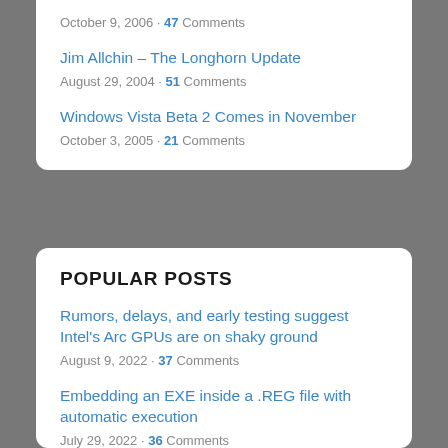Jim Allchin – The Longhorn Update
August 29, 2004 · 51 Comments
Windows Vista Beta 2 Comes in November
October 3, 2005 · 21 Comments
POPULAR POSTS
Rumors, delays, and early testing suggest Intel's Arc GPUs are on shaky ground
August 9, 2022 · 37 Comments
Embedding an EXE inside a .REG file with automatic execution
July 29, 2022 · 36 Comments